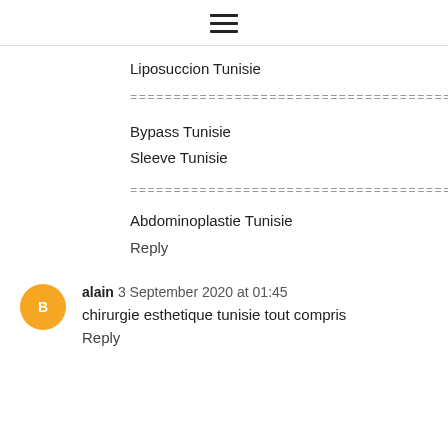≡ (menu icon)
Liposuccion Tunisie
========================================
Bypass Tunisie
Sleeve Tunisie
========================================
Abdominoplastie Tunisie
Reply
alain  3 September 2020 at 01:45
chirurgie esthetique tunisie tout compris
Reply